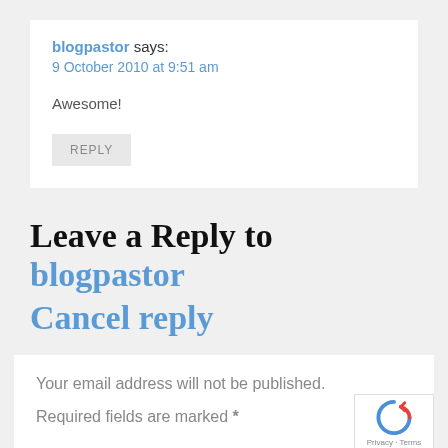blogpastor says:
9 October 2010 at 9:51 am
Awesome!
REPLY
Leave a Reply to blogpastor Cancel reply
Your email address will not be published.
Required fields are marked *